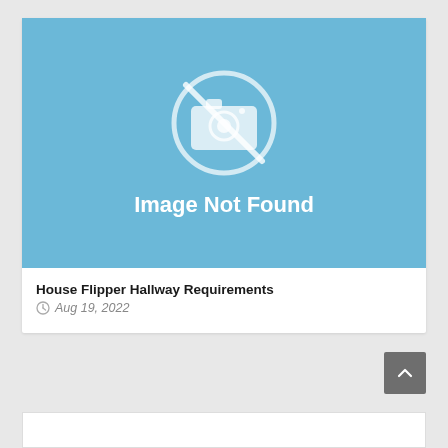[Figure (photo): Image not found placeholder with camera-slash icon on blue background with text 'Image Not Found']
House Flipper Hallway Requirements
Aug 19, 2022